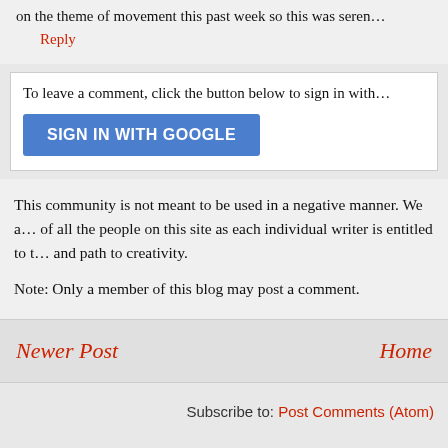on the theme of movement this past week so this was seren…
Reply
To leave a comment, click the button below to sign in with…
SIGN IN WITH GOOGLE
This community is not meant to be used in a negative manner. We a… of all the people on this site as each individual writer is entitled to t… and path to creativity.
Note: Only a member of this blog may post a comment.
Newer Post
Home
Subscribe to: Post Comments (Atom)